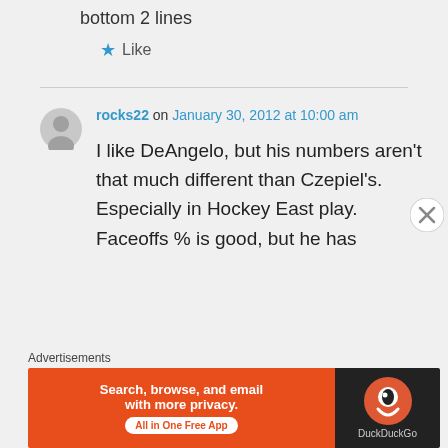bottom 2 lines
★ Like
rocks22 on January 30, 2012 at 10:00 am
I like DeAngelo, but his numbers aren't that much different than Czepiel's. Especially in Hockey East play. Faceoffs % is good, but he has
Advertisements
[Figure (screenshot): DuckDuckGo advertisement banner: 'Search, browse, and email with more privacy. All in One Free App' with DuckDuckGo logo on dark background]